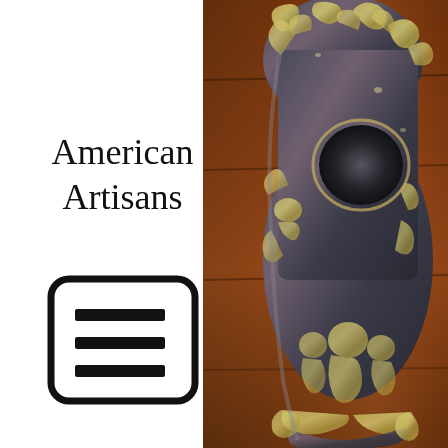American Artisans
[Figure (illustration): A simplified outline icon of a document/list inside a rounded rectangle, with three horizontal bars representing text lines]
[Figure (photo): Close-up photograph of an ornate silver decorative skull or clock case with intricate baroque embossed figures including cherubs and classical figures, set against a dark wooden background with marquetry]